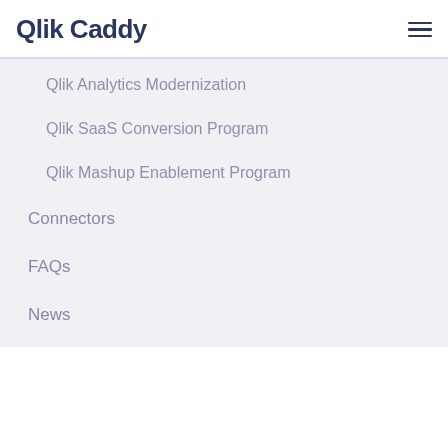Qlik Caddy
Qlik Analytics Modernization
Qlik SaaS Conversion Program
Qlik Mashup Enablement Program
Connectors
FAQs
News